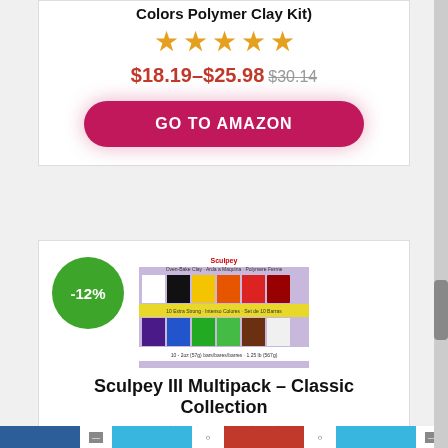Colors Polymer Clay Kit)
[Figure (other): Five orange star rating icons]
$18.19–$25.98 $30.14
GO TO AMAZON
-12%
[Figure (photo): Sculpey III Multipack Classic Collection product image showing two rows of colored clay bars]
Sculpey III Multipack – Classic Collection
[Figure (other): Five orange star rating icons (partial view)]